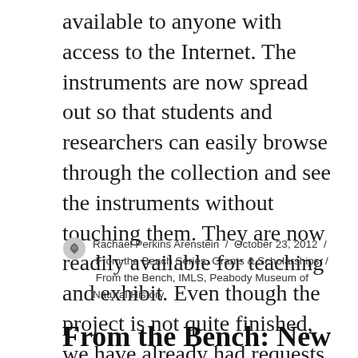available to anyone with access to the Internet. The instruments are now spread out so that students and researchers can easily browse through the collection and see the instruments without touching them. They are now readily available for teaching and exhibit. Even though the project is not quite finished, we have already had requests for the loan of instruments for exhibits and professors are using instruments in their classes.
Rachael Perkins Arenstein / October 23, 2012 / From the Bench Series, Grants & Scholarships / From the Bench, IMLS, Peabody Museum of Natural History
From the Bench: New